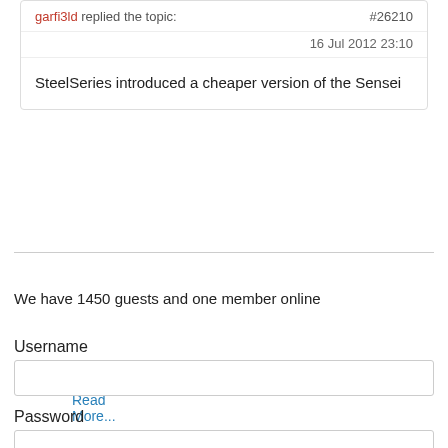garfi3ld replied the topic: #26210
16 Jul 2012 23:10
SteelSeries introduced a cheaper version of the Sensei
Read More...
We have 1450 guests and one member online
Username
Password